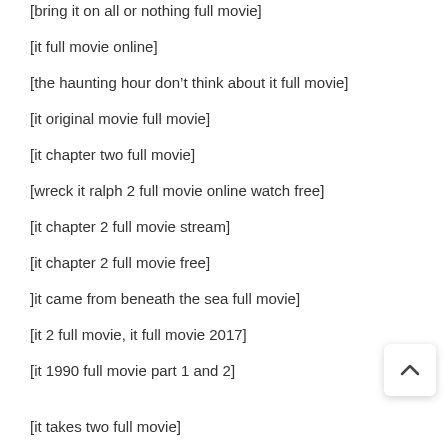[bring it on all or nothing full movie]
[it full movie online]
[the haunting hour don’t think about it full movie]
[it original movie full movie]
[it chapter two full movie]
[wreck it ralph 2 full movie online watch free]
[it chapter 2 full movie stream]
[it chapter 2 full movie free]
]it came from beneath the sea full movie]
[it 2 full movie, it full movie 2017]
[it 1990 full movie part 1 and 2]
[it takes two full movie]